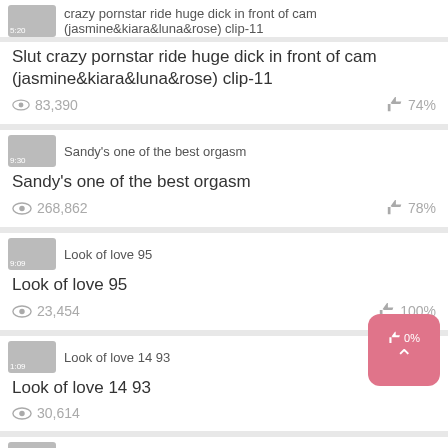[Figure (screenshot): Video thumbnail with timestamp 5:20 for 'Slut crazy pornstar ride huge dick in front of cam (jasmine&kiara&luna&rose) clip-11']
Slut crazy pornstar ride huge dick in front of cam (jasmine&kiara&luna&rose) clip-11
83,390 views · 74%
[Figure (screenshot): Video thumbnail with timestamp 9:30 for 'Sandy's one of the best orgasm']
Sandy's one of the best orgasm
268,862 views · 78%
[Figure (screenshot): Video thumbnail with timestamp 9:09 for 'Look of love 95']
Look of love 95
23,454 views · 100%
[Figure (screenshot): Video thumbnail with timestamp 1:09 for 'Look of love 14 93']
Look of love 14 93
30,614 views · 0%
[Figure (screenshot): Video thumbnail with timestamp 1:09 for 'Look of love 12 91']
Look of love 12 91
32,925 views